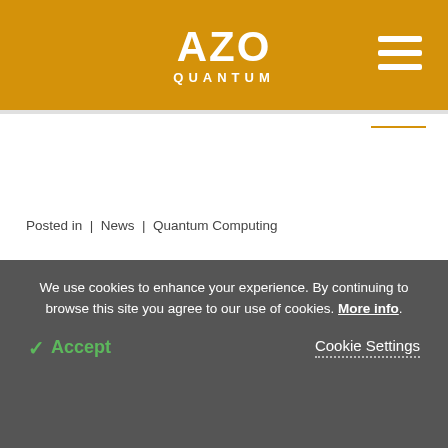AZO QUANTUM
Posted in | News | Quantum Computing
Diversity Could Help Minimize Errors in
We use cookies to enhance your experience. By continuing to browse this site you agree to our use of cookies. More info. Accept Cookie Settings